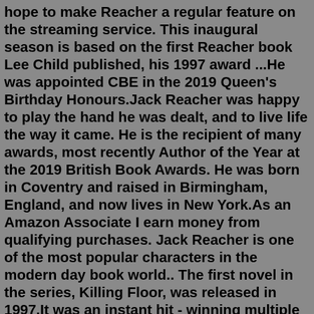hope to make Reacher a regular feature on the streaming service. This inaugural season is based on the first Reacher book Lee Child published, his 1997 award ...He was appointed CBE in the 2019 Queen's Birthday Honours.Jack Reacher was happy to play the hand he was dealt, and to live life the way it came. He is the recipient of many awards, most recently Author of the Year at the 2019 British Book Awards. He was born in Coventry and raised in Birmingham, England, and now lives in New York.As an Amazon Associate I earn money from qualifying purchases. Jack Reacher is one of the most popular characters in the modern day book world.. The first novel in the series, Killing Floor, was released in 1997.It was an instant hit - winning multiple awards such as an Anthony Award and a Barry Award both for Best First Novel.. The series is written by Lee Child exclusively up until 2020 ...Jan 12, 2021 · Better Off Dead is the 26th thriller in Lee Child's long-running Jack Reacher series, now cowritten with his younger brother who will eventually take over the franchise.